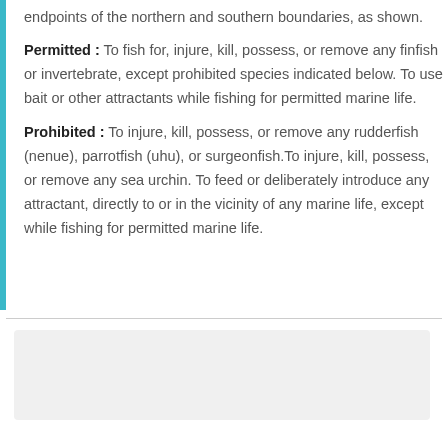endpoints of the northern and southern boundaries, as shown.
Permitted : To fish for, injure, kill, possess, or remove any finfish or invertebrate, except prohibited species indicated below. To use bait or other attractants while fishing for permitted marine life.
Prohibited : To injure, kill, possess, or remove any rudderfish (nenue), parrotfish (uhu), or surgeonfish.To injure, kill, possess, or remove any sea urchin. To feed or deliberately introduce any attractant, directly to or in the vicinity of any marine life, except while fishing for permitted marine life.
+ Kahului Harbor, Maui HAR 13-56